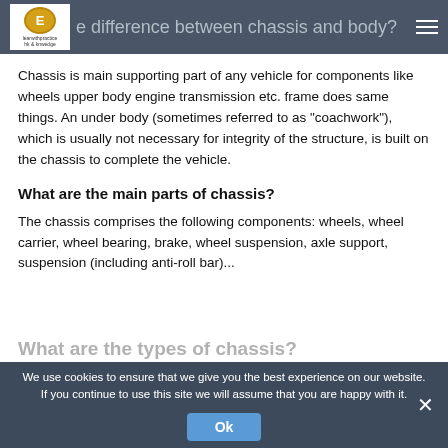e difference between chassis and body?
Chassis is main supporting part of any vehicle for components like wheels upper body engine transmission etc. frame does same things. An under body (sometimes referred to as “coachwork”), which is usually not necessary for integrity of the structure, is built on the chassis to complete the vehicle.
What are the main parts of chassis?
The chassis comprises the following components: wheels, wheel carrier, wheel bearing, brake, wheel suspension, axle support, suspension (including anti-roll bar)...
What are the types of chassis?
Following are the four main types of car chassis.
Ladder Frame Chassis. Ladder chassis.
Backbone Chassis. backbone chassis.
We use cookies to ensure that we give you the best experience on our website. If you continue to use this site we will assume that you are happy with it.